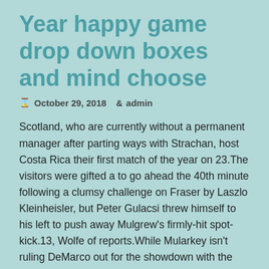Year happy game drop down boxes and mind choose
⊙ October 29, 2018  admin
Scotland, who are currently without a permanent manager after parting ways with Strachan, host Costa Rica their first match of the year on 23.The visitors were gifted a to go ahead the 40th minute following a clumsy challenge on Fraser by Laszlo Kleinheisler, but Peter Gulacsi threw himself to his left to push away Mulgrew's firmly-hit spot-kick.13, Wolfe of reports.While Mularkey isn't ruling DeMarco out for the showdown with the Patriots after the veteran running back sat out the team's playoff-opening win over the Chiefs last weekend, he line for the lead role